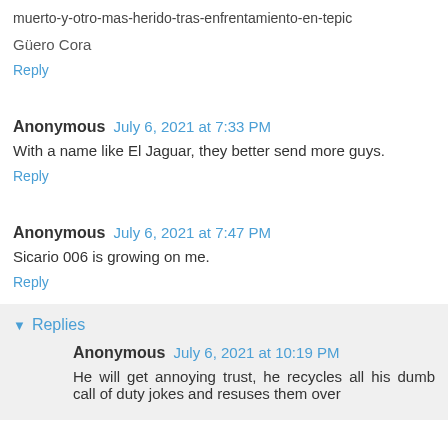muerto-y-otro-mas-herido-tras-enfrentamiento-en-tepic
Güero Cora
Reply
Anonymous July 6, 2021 at 7:33 PM
With a name like El Jaguar, they better send more guys.
Reply
Anonymous July 6, 2021 at 7:47 PM
Sicario 006 is growing on me.
Reply
Replies
Anonymous July 6, 2021 at 10:19 PM
He will get annoying trust, he recycles all his dumb call of duty jokes and resuses them over